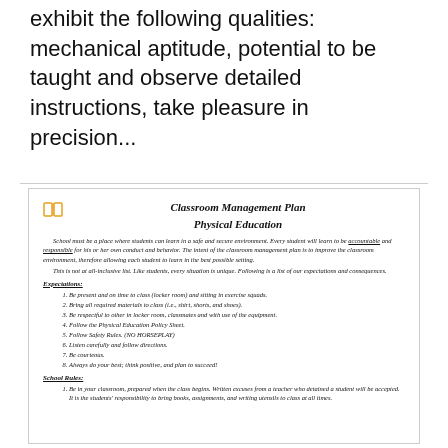exhibit the following qualities: mechanical aptitude, potential to be taught and observe detailed instructions, take pleasure in precision...
Classroom Management Plan
Physical Education
School must be a place where students can learn in a safe and secure environment. Every student will learn to be accountable and responsible for his or her own conduct and behavior. The intent of the classroom management plan is to improve the classroom environment, therefore allowing each student to learn in the best possible setting. This is not at all-inclusive list. Like students, every situation is unique. Following is a list of our expectations and consequences.
Expectations:
Be present and on time to class (locker room) and sitting in exercise squads.
Bring all required materials to class (i.e., shirt, shorts, and shoes).
Be respectful to other in locker room, classmates and with use of the equipment.
Follow the Physical Education Policy Sheet.
Follow Safety Rules. (NO HORSEPLAY)
Listen carefully and follow directions.
Be courteous.
Always do your best; think positive, and plan to succeed!
School Rules:
Be in your classroom, prepared when the class begins. Written excuses from a teacher who detained a student will be accepted. It is the students' responsibility to bring books, assignments, and writing utensils to class at all times.